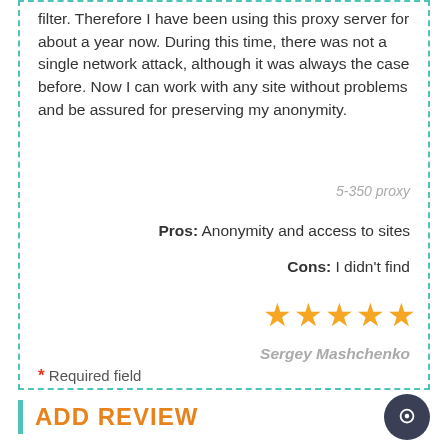filter. Therefore I have been using this proxy server for about a year now. During this time, there was not a single network attack, although it was always the case before. Now I can work with any site without problems and be assured for preserving my anonymity.
5-350 proxy
Pros: Anonymity and access to sites
Cons: I didn't find
[Figure (other): 5 gold star rating]
Sergey Mashchenko
ADD REVIEW
* Required field